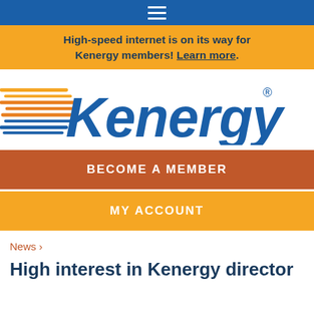≡
High-speed internet is on its way for Kenergy members! Learn more.
[Figure (logo): Kenergy logo with speed-line graphic on left and stylized italic 'Kenergy' text with registered trademark symbol]
BECOME A MEMBER
MY ACCOUNT
News >
High interest in Kenergy director